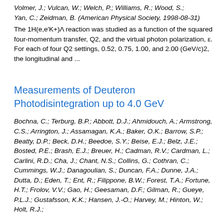Volmer, J.; Vulcan, W.; Welch, P.; Williams, R.; Wood, S.; Yan, C.; Zeidman, B. (American Physical Society, 1998-08-31)
The 1H(e,e'K+)Λ reaction was studied as a function of the squared four-momentum transfer, Q2, and the virtual photon polarization, ε. For each of four Q2 settings, 0.52, 0.75, 1.00, and 2.00 (GeV/c)2, the longitudinal and ...
Measurements of Deuteron Photodisintegration up to 4.0 GeV
Bochna, C.; Terburg, B.P.; Abbott, D.J.; Ahmidouch, A.; Armstrong, C.S.; Arrington, J.; Assamagan, K.A.; Baker, O.K.; Barrow, S.P.; Beatty, D.P.; Beck, D.H.; Beedoe, S.Y.; Beise, E.J.; Belz, J.E.; Bosted, P.E.; Brash, E.J.; Breuer, H.; Cadman, R.V.; Cardman, L.; Carlini, R.D.; Cha, J.; Chant, N.S.; Collins, G.; Cothran, C.; Cummings, W.J.; Danagoulian, S.; Duncan, F.A.; Dunne, J.A.; Dutta, D.; Eden, T.; Ent, R.; Filippone, B.W.; Forest, T.A.; Fortune, H.T.; Frolov, V.V.; Gao, H.; Geesaman, D.F.; Gilman, R.; Gueye, P.L.J.; Gustafsson, K.K.; Hansen, J.-O.; Harvey, M.; Hinton, W.; Holt, R.J.;